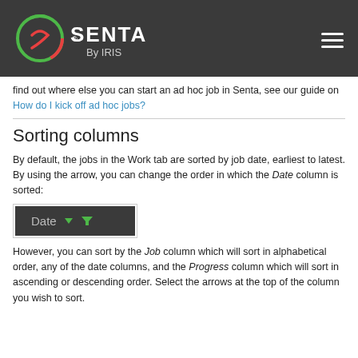SENTA By IRIS
find out where else you can start an ad hoc job in Senta, see our guide on How do I kick off ad hoc jobs?
Sorting columns
By default, the jobs in the Work tab are sorted by job date, earliest to latest. By using the arrow, you can change the order in which the Date column is sorted:
[Figure (screenshot): Screenshot of a dark 'Date' column header with a green downward arrow and a green filter icon]
However, you can sort by the Job column which will sort in alphabetical order, any of the date columns, and the Progress column which will sort in ascending or descending order. Select the arrows at the top of the column you wish to sort.